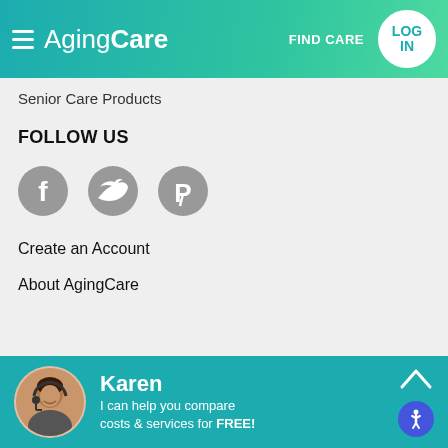AgingCare — FIND CARE — LOG IN
Senior Care Products
FOLLOW US
[Figure (illustration): Three social media icon circles: Facebook, Twitter, Pinterest — grey circular icons]
Create an Account
About AgingCare
AgingCare.com connects families who are caring for aging parents, spouses, or other elderly loved ones with the information and support they need to make informed caregiving decisions.
Karen — I can help you compare costs & services for FREE!